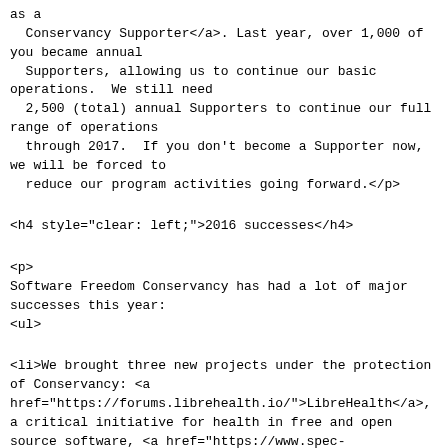as a
  Conservancy Supporter</a>. Last year, over 1,000 of you became annual
  Supporters, allowing us to continue our basic operations.  We still need
  2,500 (total) annual Supporters to continue our full range of operations
  through 2017.  If you don't become a Supporter now, we will be forced to
  reduce our program activities going forward.</p>
<h4 style="clear: left;">2016 successes</h4>
<p>
Software Freedom Conservancy has had a lot of major successes this year:
<ul>
<li>We brought three new projects under the protection of Conservancy: <a
href="https://forums.librehealth.io/">LibreHealth</a>, a critical initiative for health in free and open source software, <a href="https://www.spec-ops.io/">Spec-Ops</a>, a project dedicated to creating of open standards in critical areas, including payments and identity
and <a href="http://brew.sh/">Homebrew</a>, a software package manager for Apple's OS X. </li>
<li>We <a href="/news/2015/mar/05/vmware-lawsuit/">supported